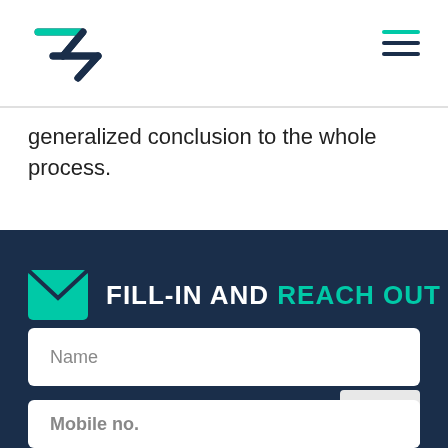Navigation header with logo and hamburger menu
generalized conclusion to the whole process.
FILL-IN AND REACH OUT
Name
Mobile no.